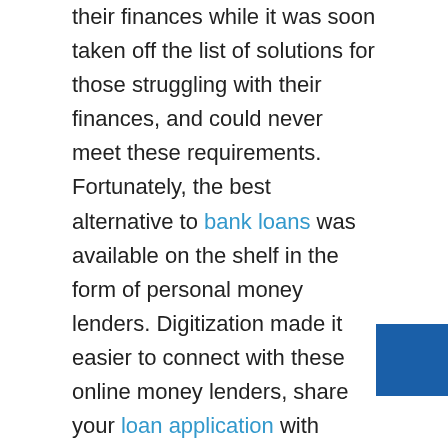their finances while it was soon taken off the list of solutions for those struggling with their finances, and could never meet these requirements.
Fortunately, the best alternative to bank loans was available on the shelf in the form of personal money lenders. Digitization made it easier to connect with these online money lenders, share your loan application with them, and you can get a loan approval quite quickly. Since all the records are available online, such as company profile, details, and history, the verification got simpler. The best part about these online loans is that they offer a variety of options against reasonable terms and can allow most businesses to dodge a tricky situation in the hour of need. An example of this could be merchant cash